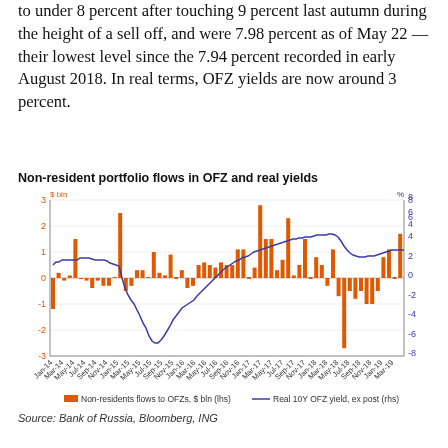to under 8 percent after touching 9 percent last autumn during the height of a sell off, and were 7.98 percent as of May 22 — their lowest level since the 7.94 percent recorded in early August 2018. In real terms, OFZ yields are now around 3 percent.
Non-resident portfolio flows in OFZ and real yields
[Figure (bar-chart): Combined bar and line chart. Orange bars show non-resident flows to OFZs in $ bln (lhs, range -3 to 3). Blue line shows Real 10Y OFZ yield ex post (rhs, range -8 to 8). X-axis spans Jan-14 to Mar-19.]
Source: Bank of Russia, Bloomberg, ING